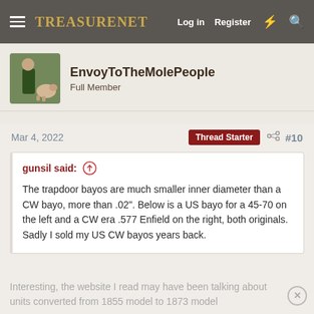TreasureNet  Log in  Register
EnvoyToTheMolePeople
Full Member
Mar 4, 2022  Thread Starter  #10
gunsil said:
The trapdoor bayos are much smaller inner diameter than a CW bayo, more than .02". Below is a US bayo for a 45-70 on the left and a CW era .577 Enfield on the right, both originals. Sadly I sold my US CW bayos years back.
Interesting, the website I read may have been talking about units converted from 1855 model to 1873 model